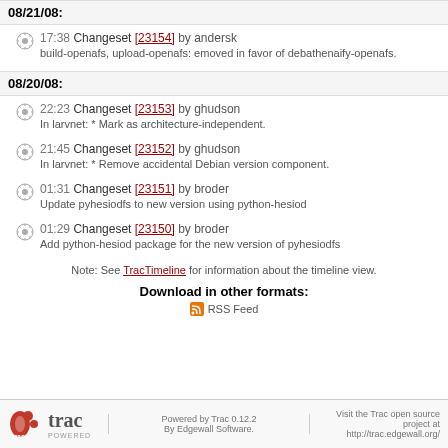08/21/08:
17:38 Changeset [23154] by andersk
build-openafs, upload-openafs: emoved in favor of debathenaify-openafs.
08/20/08:
22:23 Changeset [23153] by ghudson
In larvnet: * Mark as architecture-independent.
21:45 Changeset [23152] by ghudson
In larvnet: * Remove accidental Debian version component.
01:31 Changeset [23151] by broder
Update pyhesiodfs to new version using python-hesiod
01:29 Changeset [23150] by broder
Add python-hesiod package for the new version of pyhesiodfs
Note: See TracTimeline for information about the timeline view.
Download in other formats:
RSS Feed
Powered by Trac 0.12.2 By Edgewall Software. Visit the Trac open source project at http://trac.edgewall.org/